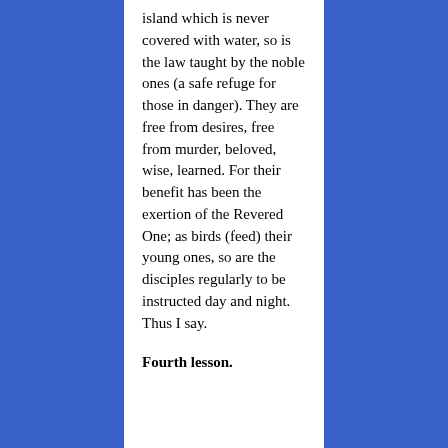island which is never covered with water, so is the law taught by the noble ones (a safe refuge for those in danger). They are free from desires, free from murder, beloved, wise, learned. For their benefit has been the exertion of the Revered One; as birds (feed) their young ones, so are the disciples regularly to be instructed day and night. Thus I say.
Fourth lesson.